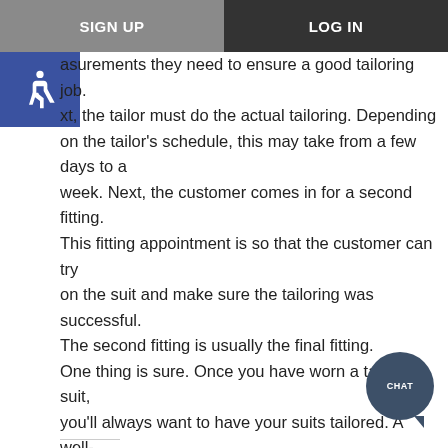SIGN UP | LOG IN
[Figure (illustration): Wheelchair accessibility icon, white symbol on blue square background]
asurements they need to ensure a good tailoring job. xt, the tailor must do the actual tailoring. Depending on the tailor's schedule, this may take from a few days to a week. Next, the customer comes in for a second fitting. This fitting appointment is so that the customer can try on the suit and make sure the tailoring was successful. The second fitting is usually the final fitting. One thing is sure. Once you have worn a tailored suit, you'll always want to have your suits tailored. A well-tailored suit makes the person wearing it look groomed, polished and professional. Contact us today to learn more about our suit tailoring services.
[Figure (illustration): Dark blue-grey circular chat bubble button with text CHAT]